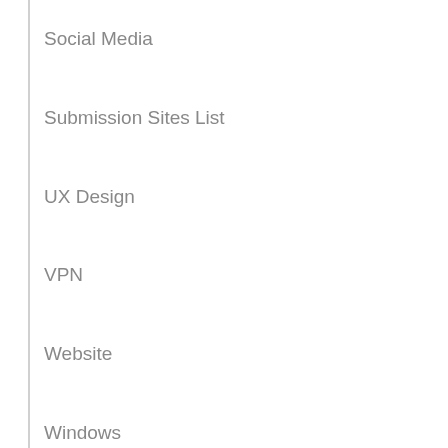Social Media
Submission Sites List
UX Design
VPN
Website
Windows